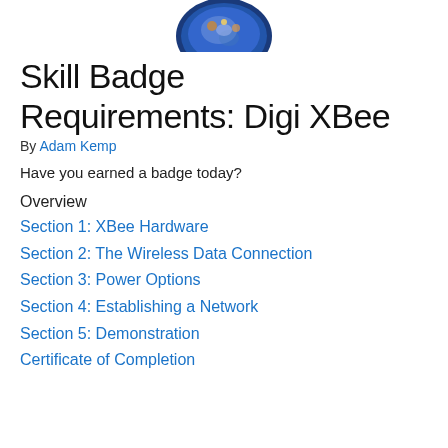[Figure (illustration): Circular skill badge / emblem with blue border, partially cropped at top of page]
Skill Badge Requirements: Digi XBee
By Adam Kemp
Have you earned a badge today?
Overview
Section 1: XBee Hardware
Section 2: The Wireless Data Connection
Section 3: Power Options
Section 4: Establishing a Network
Section 5: Demonstration
Certificate of Completion